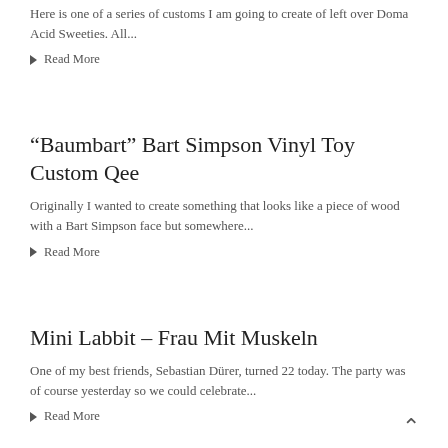Here is one of a series of customs I am going to create of left over Doma Acid Sweeties. All...
▶ Read More
“Baumbart” Bart Simpson Vinyl Toy Custom Qee
Originally I wanted to create something that looks like a piece of wood with a Bart Simpson face but somewhere...
▶ Read More
Mini Labbit – Frau Mit Muskeln
One of my best friends, Sebastian Dürer, turned 22 today. The party was of course yesterday so we could celebrate...
▶ Read More